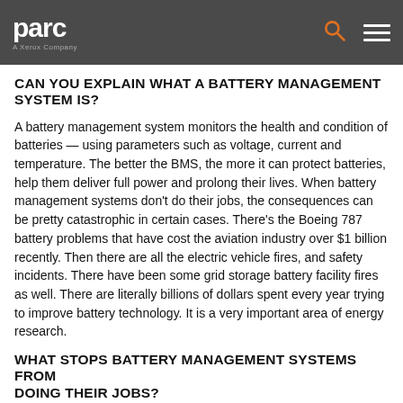parc — A Xerox Company
CAN YOU EXPLAIN WHAT A BATTERY MANAGEMENT SYSTEM IS?
A battery management system monitors the health and condition of batteries — using parameters such as voltage, current and temperature. The better the BMS, the more it can protect batteries, help them deliver full power and prolong their lives. When battery management systems don't do their jobs, the consequences can be pretty catastrophic in certain cases. There's the Boeing 787 battery problems that have cost the aviation industry over $1 billion recently. Then there are all the electric vehicle fires, and safety incidents. There have been some grid storage battery facility fires as well. There are literally billions of dollars spent every year trying to improve battery technology. It is a very important area of energy research.
WHAT STOPS BATTERY MANAGEMENT SYSTEMS FROM DOING THEIR JOBS?